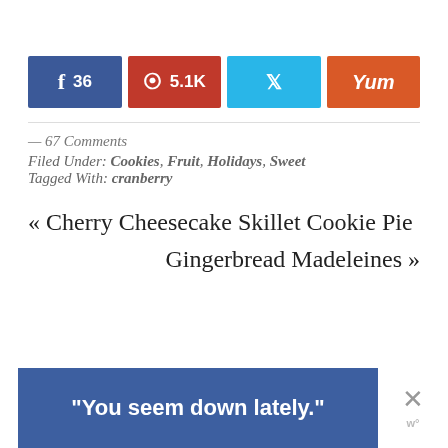[Figure (other): Social share buttons row: Facebook (36), Pinterest (5.1K), Twitter, Yum]
— 67 Comments
Filed Under: Cookies, Fruit, Holidays, Sweet
Tagged With: cranberry
« Cherry Cheesecake Skillet Cookie Pie
Gingerbread Madeleines »
[Figure (other): Advertisement banner: "You seem down lately." with close X button and wp logo]